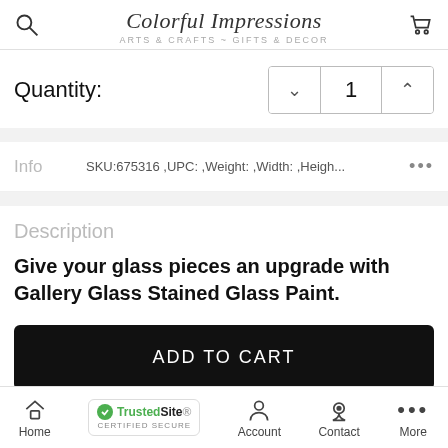Colorful Impressions — ARTS & CRAFTS ~ GIFTS & DECOR
Quantity:
Info  SKU:675316 ,UPC: ,Weight: ,Width: ,Heigh... ...
Description
Give your glass pieces an upgrade with Gallery Glass Stained Glass Paint.
ADD TO CART
your glass projects. Choose from a variety of vibrant colors
Home  Account  Contact  More